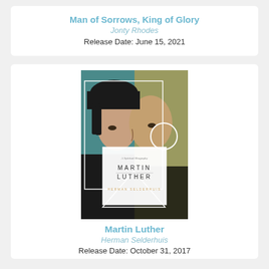Man of Sorrows, King of Glory
Jonty Rhodes
Release Date: June 15, 2021
[Figure (illustration): Book cover of 'Martin Luther: A Spiritual Biography' by Herman Selderhuis, showing a split portrait of Martin Luther with geometric white overlay shapes including rectangles, a circle, and a triangle on a teal/green background.]
Martin Luther
Herman Selderhuis
Release Date: October 31, 2017